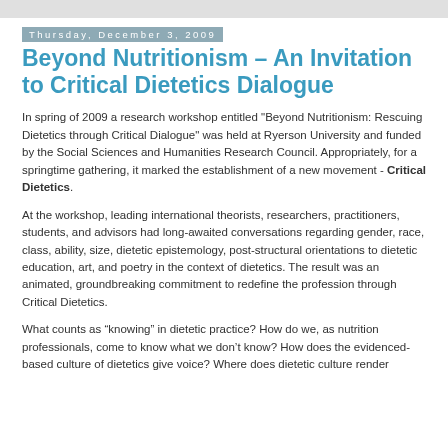Thursday, December 3, 2009
Beyond Nutritionism – An Invitation to Critical Dietetics Dialogue
In spring of 2009 a research workshop entitled "Beyond Nutritionism: Rescuing Dietetics through Critical Dialogue" was held at Ryerson University and funded by the Social Sciences and Humanities Research Council. Appropriately, for a springtime gathering, it marked the establishment of a new movement - Critical Dietetics.
At the workshop, leading international theorists, researchers, practitioners, students, and advisors had long-awaited conversations regarding gender, race, class, ability, size, dietetic epistemology, post-structural orientations to dietetic education, art, and poetry in the context of dietetics. The result was an animated, groundbreaking commitment to redefine the profession through Critical Dietetics.
What counts as “knowing” in dietetic practice? How do we, as nutrition professionals, come to know what we don’t know? How does the evidenced-based culture of dietetics give voice? Where does dietetic culture render